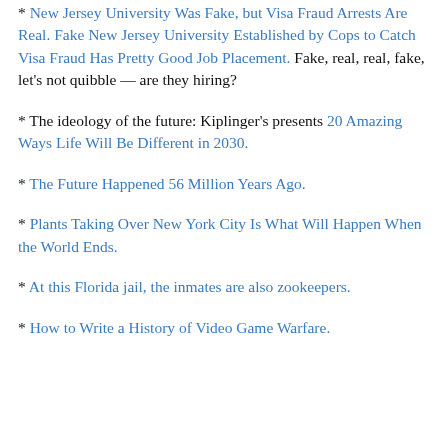* New Jersey University Was Fake, but Visa Fraud Arrests Are Real. Fake New Jersey University Established by Cops to Catch Visa Fraud Has Pretty Good Job Placement. Fake, real, real, fake, let's not quibble — are they hiring?
* The ideology of the future: Kiplinger's presents 20 Amazing Ways Life Will Be Different in 2030.
* The Future Happened 56 Million Years Ago.
* Plants Taking Over New York City Is What Will Happen When the World Ends.
* At this Florida jail, the inmates are also zookeepers.
* How to Write a History of Video Game Warfare.